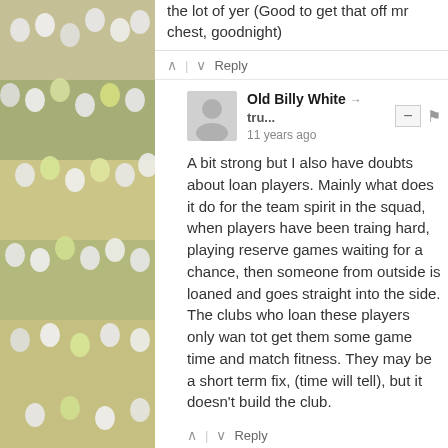[Figure (photo): Crowd of sports fans in stadium, left side background]
[Figure (photo): Crowd of sports fans in stadium, right side background]
the lot of yer (Good to get that off mr chest, goodnight)
Reply
Old Billy White → tru... 11 years ago
A bit strong but I also have doubts about loan players. Mainly what does it do for the team spirit in the squad, when players have been traing hard, playing reserve games waiting for a chance, then someone from outside is loaned and goes straight into the side. The clubs who loan these players only wan tot get them some game time and match fitness. They may be a short term fix, (time will tell), but it doesn't build the club.
Reply
Tim Wilsom → trueyor... 11 years ago